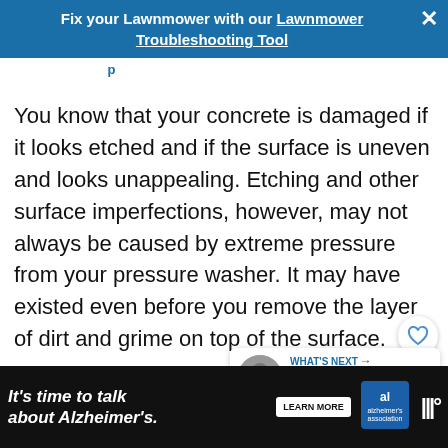Fix your Lawnmower with our Lawnmower Troubleshooting Tool
You know that your concrete is damaged if it looks etched and if the surface is uneven and looks unappealing. Etching and other surface imperfections, however, may not always be caused by extreme pressure from your pressure washer. It may have existed even before you remove the layer of dirt and grime on top of the surface.
[Figure (infographic): WHAT'S NEXT arrow with thumbnail and text: Complete Guide to...]
[Figure (infographic): Bottom advertisement bar: It's time to talk about Alzheimer's. LEARN MORE. Alzheimer's Association logo.]